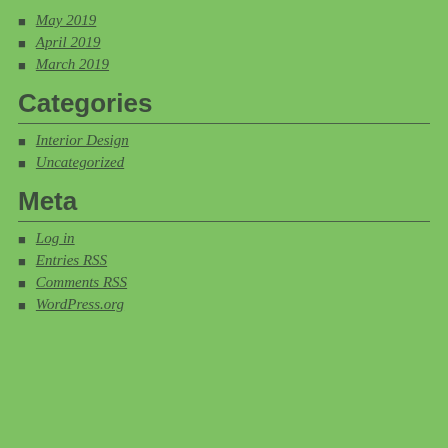May 2019
April 2019
March 2019
Categories
Interior Design
Uncategorized
Meta
Log in
Entries RSS
Comments RSS
WordPress.org